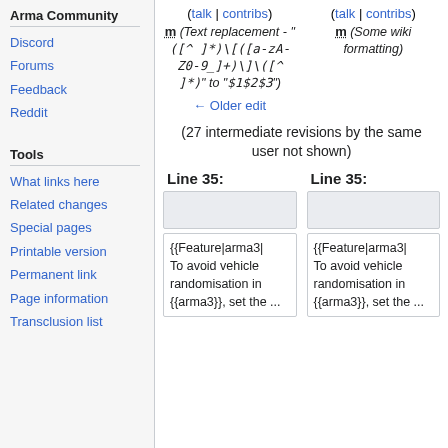Arma Community
Discord
Forums
Feedback
Reddit
Tools
What links here
Related changes
Special pages
Printable version
Permanent link
Page information
Transclusion list
(talk | contribs) m (Text replacement - "<code>([^ ]*)|[(a-zA-Z0-9_]+)|\|([^ ]*)" to "<code>$1$2$3</code>") ← Older edit
(talk | contribs) m (Some wiki formatting)
(27 intermediate revisions by the same user not shown)
Line 35:
Line 35:
{{Feature|arma3| To avoid vehicle randomisation in {{arma3}}, set the ...
{{Feature|arma3| To avoid vehicle randomisation in {{arma3}}, set the ...